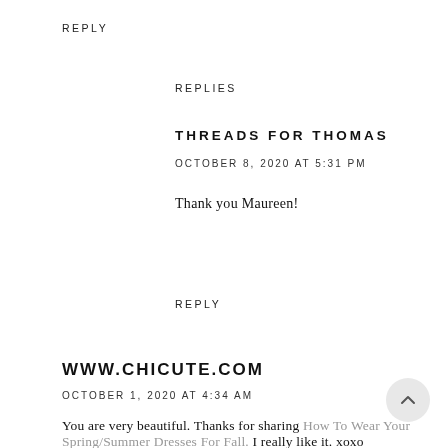REPLY
REPLIES
THREADS FOR THOMAS
OCTOBER 8, 2020 AT 5:31 PM
Thank you Maureen!
REPLY
WWW.CHICUTE.COM
OCTOBER 1, 2020 AT 4:34 AM
You are very beautiful. Thanks for sharing How To Wear Your Spring/Summer Dresses For Fall. I really like it. xoxo